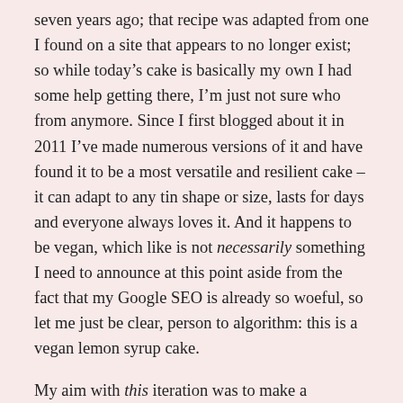seven years ago; that recipe was adapted from one I found on a site that appears to no longer exist; so while today's cake is basically my own I had some help getting there, I'm just not sure who from anymore. Since I first blogged about it in 2011 I've made numerous versions of it and have found it to be a most versatile and resilient cake – it can adapt to any tin shape or size, lasts for days and everyone always loves it. And it happens to be vegan, which like is not necessarily something I need to announce at this point aside from the fact that my Google SEO is already so woeful, so let me just be clear, person to algorithm: this is a vegan lemon syrup cake.
My aim with this iteration was to make a traditional style iced/lemon drizzle cake, but I was thwarted by the whole lack of proximity to shops thing: we only had a bare amount of icing